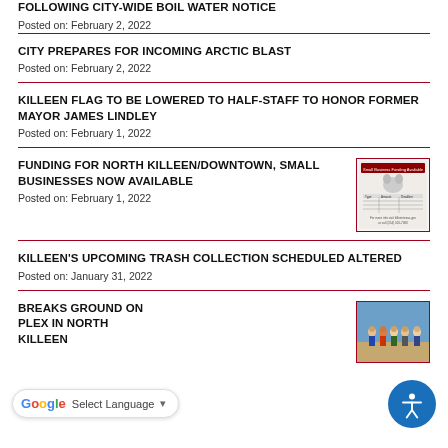FOLLOWING CITY-WIDE BOIL WATER NOTICE
Posted on: February 2, 2022
CITY PREPARES FOR INCOMING ARCTIC BLAST
Posted on: February 2, 2022
KILLEEN FLAG TO BE LOWERED TO HALF-STAFF TO HONOR FORMER MAYOR JAMES LINDLEY
Posted on: February 1, 2022
FUNDING FOR NORTH KILLEEN/DOWNTOWN, SMALL BUSINESSES NOW AVAILABLE
[Figure (other): Small flyer thumbnail with table/schedule content and logo]
Posted on: February 1, 2022
KILLEEN'S UPCOMING TRASH COLLECTION SCHEDULED ALTERED
Posted on: January 31, 2022
BREAKS GROUND ON
PLEX IN NORTH
KILLEEN
[Figure (photo): Group of people standing outdoors at a groundbreaking ceremony]
Select Language